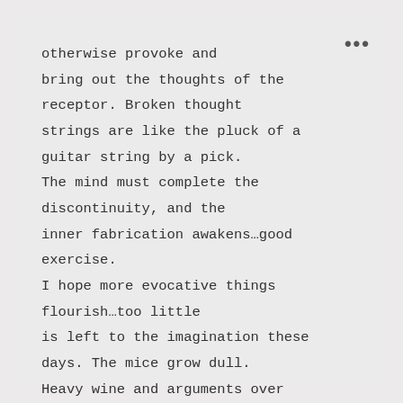otherwise provoke and bring out the thoughts of the receptor. Broken thought strings are like the pluck of a guitar string by a pick. The mind must complete the discontinuity, and the inner fabrication awakens…good exercise. I hope more evocative things flourish…too little is left to the imagination these days. The mice grow dull. Heavy wine and arguments over